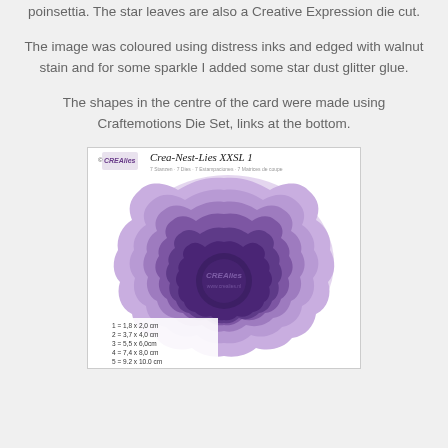poinsettia. The star leaves are also a Creative Expression die cut.
The image was coloured using distress inks and edged with walnut stain and for some sparkle I added some star dust glitter glue.
The shapes in the centre of the card were made using Craftemotions Die Set, links at the bottom.
[Figure (photo): Product packaging image for Crea-Nest-Lies XXSL 1 die set by Crealies, showing 7 nested decorative scallop/petal shaped dies in various shades of purple arranged concentrically, with size measurements listed: 1=1.8x2.0cm, 2=3.7x4.0cm, 3=5.5x6.0cm, 4=7.4x8.0cm, 5=9.2x10.0cm]